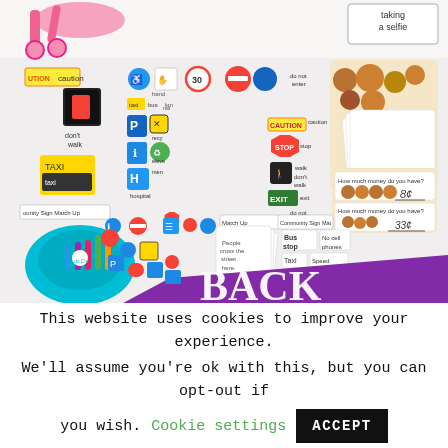[Figure (photo): Educational materials collage showing community signs matching cards, traffic/road signs, coins money worksheets, and a purple 'BACK' banner. Top strip shows pink scissors and a 'taking a selfie' card.]
This website uses cookies to improve your experience. We'll assume you're ok with this, but you can opt-out if you wish. Cookie settings ACCEPT